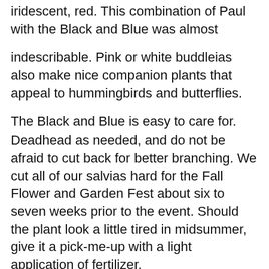iridescent, red. This combination of Paul with the Black and Blue was almost
indescribable. Pink or white buddleias also make nice companion plants that appeal to hummingbirds and butterflies.
The Black and Blue is easy to care for. Deadhead as needed, and do not be afraid to cut back for better branching. We cut all of our salvias hard for the Fall Flower and Garden Fest about six to seven weeks prior to the event. Should the plant look a little tired in midsummer, give it a pick-me-up with a light application of fertilizer.
The plant will probably need to be divided in three years. Divide in early spring with the emergence of new growth. Like many salvias, this one is easy to propagate by cuttings. Make sure it goes into winter with an added layer of mulch.